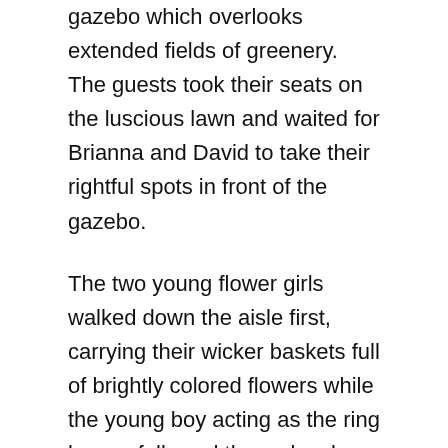gazebo which overlooks extended fields of greenery. The guests took their seats on the luscious lawn and waited for Brianna and David to take their rightful spots in front of the gazebo.
The two young flower girls walked down the aisle first, carrying their wicker baskets full of brightly colored flowers while the young boy acting as the ring bearer followed them closely behind. Then it was Brianna's turn to walk down the aisle with her father. They arrived at the front steps of the gazebo where David was already waiting, and the bride and groom exchanged vows and wedding rings in front of the emotional audience.
Simple wedding decoration ideas for reception